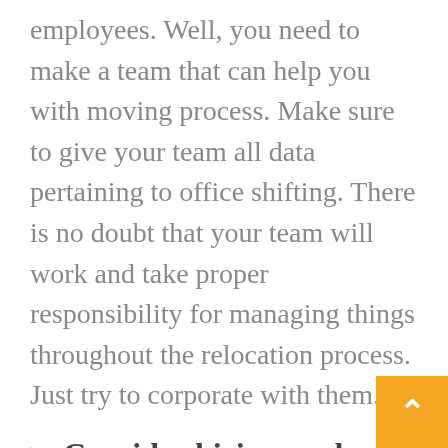employees. Well, you need to make a team that can help you with moving process. Make sure to give your team all data pertaining to office shifting. There is no doubt that your team will work and take proper responsibility for managing things throughout the relocation process. Just try to corporate with them.
Consider hiring packers and movers
No matter how much your team will help you with moving task, but they might not be able to lift up office goods on their own, load transport, and upload them. For that, you